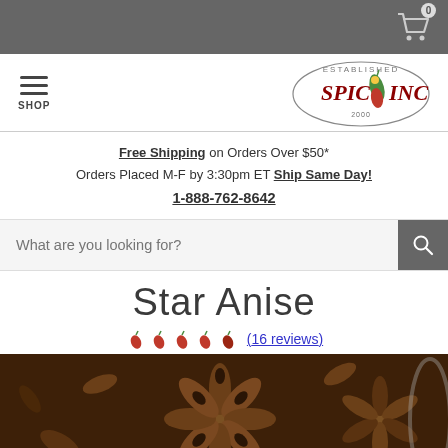0 (cart)
[Figure (logo): Spice Inc logo — established date, chili pepper mascot, circular seal]
Free Shipping on Orders Over $50* Orders Placed M-F by 3:30pm ET Ship Same Day! 1-888-762-8642
What are you looking for?
Star Anise
(16 reviews)
[Figure (photo): Close-up photograph of dried star anise spice]